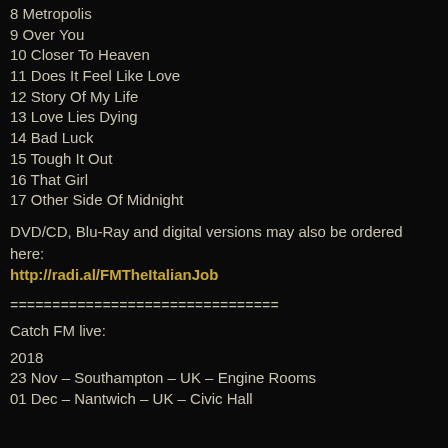8 Metropolis
9 Over You
10 Closer To Heaven
11 Does It Feel Like Love
12 Story Of My Life
13 Love Lies Dying
14 Bad Luck
15 Tough It Out
16 That Girl
17 Other Side Of Midnight
DVD/CD, Blu-Ray and digital versions may also be ordered here:
http://radi.al/FMTheItalianJob
================================
Catch FM live:
2018
23 Nov – Southampton – UK – Engine Rooms
01 Dec – Nantwich – UK – Civic Hall